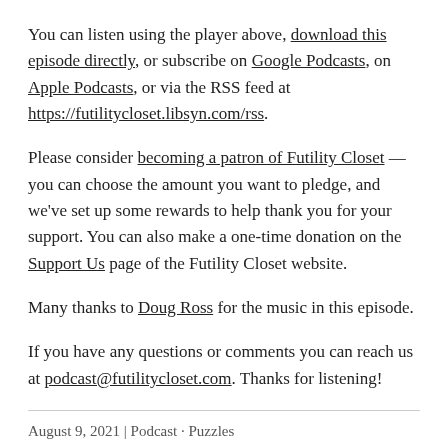You can listen using the player above, download this episode directly, or subscribe on Google Podcasts, on Apple Podcasts, or via the RSS feed at https://futilitycloset.libsyn.com/rss.
Please consider becoming a patron of Futility Closet — you can choose the amount you want to pledge, and we've set up some rewards to help thank you for your support. You can also make a one-time donation on the Support Us page of the Futility Closet website.
Many thanks to Doug Ross for the music in this episode.
If you have any questions or comments you can reach us at podcast@futilitycloset.com. Thanks for listening!
August 9, 2021 | Podcast · Puzzles